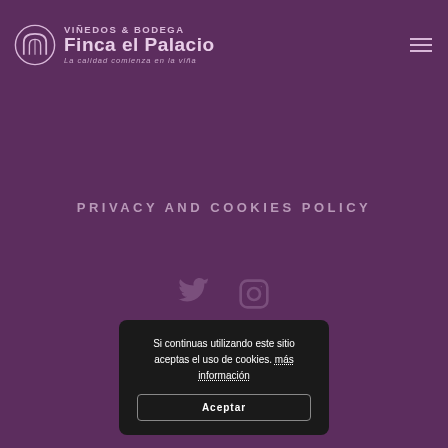[Figure (logo): Viñedos & Bodega Finca el Palacio logo with arch icon, title text, and tagline 'La calidad comienza en la viña']
[Figure (other): Hamburger menu icon (three horizontal lines) in top right corner]
PRIVACY AND COOKIES POLICY
[Figure (other): Social media icons: Twitter bird and Instagram camera icons]
© 2019 FINCA EL PALACIO
Si continuas utilizando este sitio aceptas el uso de cookies. más información
Aceptar